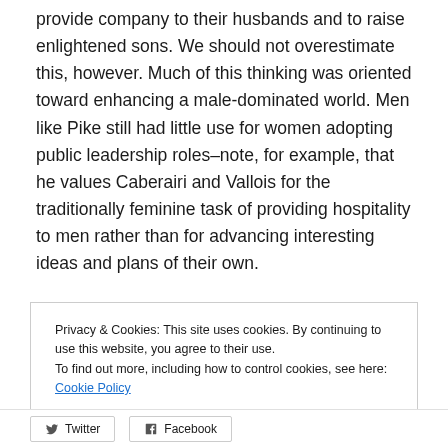provide company to their husbands and to raise enlightened sons. We should not overestimate this, however. Much of this thinking was oriented toward enhancing a male-dominated world. Men like Pike still had little use for women adopting public leadership roles–note, for example, that he values Caberairi and Vallois for the traditionally feminine task of providing hospitality to men rather than for advancing interesting ideas and plans of their own.
Privacy & Cookies: This site uses cookies. By continuing to use this website, you agree to their use. To find out more, including how to control cookies, see here: Cookie Policy
Close and accept
Twitter Facebook